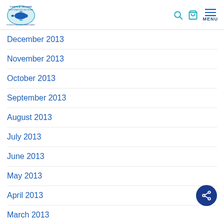Turtle Island Restoration Network — site navigation header with logo, search, bag, and menu icons
December 2013
November 2013
October 2013
September 2013
August 2013
July 2013
June 2013
May 2013
April 2013
March 2013
February 2013
January 2013